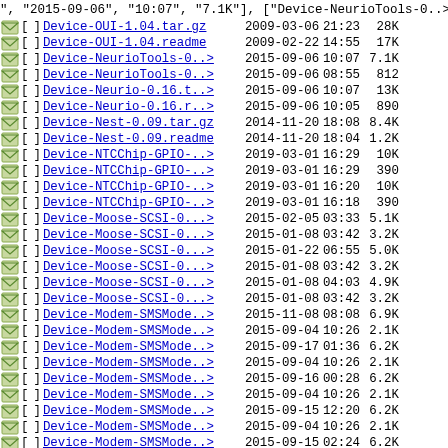| icon | name | date | time | size |
| --- | --- | --- | --- | --- |
| [  ] | Device-OUI-1.04.tar.gz | 2009-03-06 | 21:23 | 28K |
| [  ] | Device-OUI-1.04.readme | 2009-02-22 | 14:55 | 17K |
| [  ] | Device-NeurioTools-0..> | 2015-09-06 | 10:07 | 7.1K |
| [  ] | Device-NeurioTools-0..> | 2015-09-06 | 08:55 | 812 |
| [  ] | Device-Neurio-0.16.t..> | 2015-09-06 | 10:07 | 13K |
| [  ] | Device-Neurio-0.16.r..> | 2015-09-06 | 10:05 | 890 |
| [  ] | Device-Nest-0.09.tar.gz | 2014-11-20 | 18:08 | 8.4K |
| [  ] | Device-Nest-0.09.readme | 2014-11-20 | 18:04 | 1.2K |
| [  ] | Device-NTCChip-GPIO-..> | 2019-03-01 | 16:29 | 10K |
| [  ] | Device-NTCChip-GPIO-..> | 2019-03-01 | 16:29 | 390 |
| [  ] | Device-NTCChip-GPIO-..> | 2019-03-01 | 16:20 | 10K |
| [  ] | Device-NTCChip-GPIO-..> | 2019-03-01 | 16:18 | 390 |
| [  ] | Device-Moose-SCSI-0...> | 2015-02-05 | 03:33 | 5.1K |
| [  ] | Device-Moose-SCSI-0...> | 2015-01-08 | 03:42 | 3.2K |
| [  ] | Device-Moose-SCSI-0...> | 2015-01-22 | 06:55 | 5.0K |
| [  ] | Device-Moose-SCSI-0...> | 2015-01-08 | 03:42 | 3.2K |
| [  ] | Device-Moose-SCSI-0...> | 2015-01-08 | 04:03 | 4.9K |
| [  ] | Device-Moose-SCSI-0...> | 2015-01-08 | 03:42 | 3.2K |
| [  ] | Device-Modem-SMSMode..> | 2015-11-08 | 08:08 | 6.9K |
| [  ] | Device-Modem-SMSMode..> | 2015-09-04 | 10:26 | 2.1K |
| [  ] | Device-Modem-SMSMode..> | 2015-09-17 | 01:36 | 6.2K |
| [  ] | Device-Modem-SMSMode..> | 2015-09-04 | 10:26 | 2.1K |
| [  ] | Device-Modem-SMSMode..> | 2015-09-16 | 00:28 | 6.2K |
| [  ] | Device-Modem-SMSMode..> | 2015-09-04 | 10:26 | 2.1K |
| [  ] | Device-Modem-SMSMode..> | 2015-09-15 | 12:20 | 6.2K |
| [  ] | Device-Modem-SMSMode..> | 2015-09-04 | 10:26 | 2.1K |
| [  ] | Device-Modem-SMSMode..> | 2015-09-15 | 02:24 | 6.2K |
| [  ] | Device-Modem-SMSMode..> | 2015-09-04 | 10:26 | 2.1K |